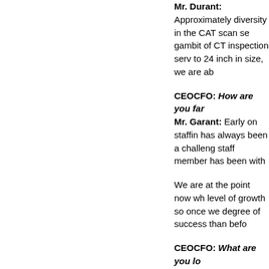Mr. Durant: Approximately diversity in the CAT scan se gambit of CT inspection serv to 24 inch in size, we are ab
CEOCFO: How are you far Mr. Garant: Early on staffin has always been a challeng staff member has been with
We are at the point now wh level of growth so once we degree of success than befo
CEOCFO: What are you lo Mr. Garant: Right now, our that we have, where a lot of larger corporations that we relation to the civil market w
CEOCFO: Is the market pi Mr. Garant: Our market is some slowdown in evolution really mature over that time,
CEOCFO: What is a typica Mr. Garant: We have repe reach out to us. We have n criteria. We also have com